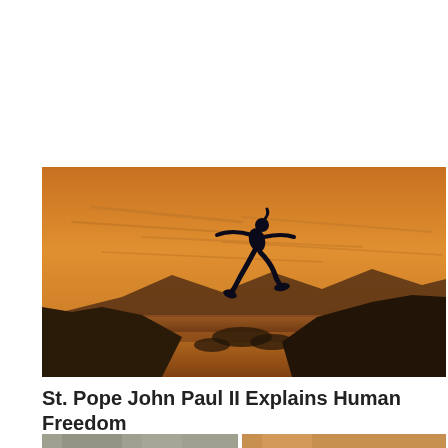[Figure (photo): A silhouette of a person leaping between two rocky outcroppings against a dramatic orange sunset sky, with mountains and a reflective body of water in the background.]
St. Pope John Paul II Explains Human Freedom
[Figure (photo): Partial bottom strip showing two cropped photos side by side, cut off at the bottom of the page.]